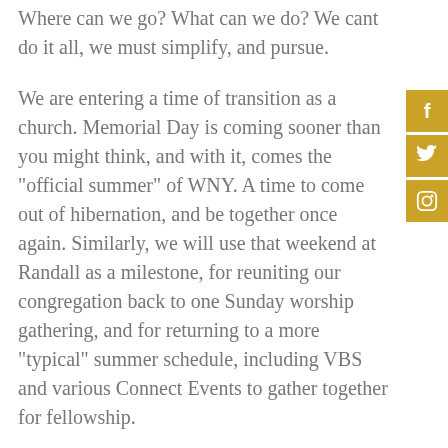Where can we go? What can we do? We cant do it all, we must simplify, and pursue.
We are entering a time of transition as a church. Memorial Day is coming sooner than you might think, and with it, comes the "official summer" of WNY. A time to come out of hibernation, and be together once again. Similarly, we will use that weekend at Randall as a milestone, for reuniting our congregation back to one Sunday worship gathering, and for returning to a more "typical" summer schedule, including VBS and various Connect Events to gather together for fellowship.
We are also entering a time of transition for leadership in the church. As many of you are aware, Pastor Mario announced his resignation